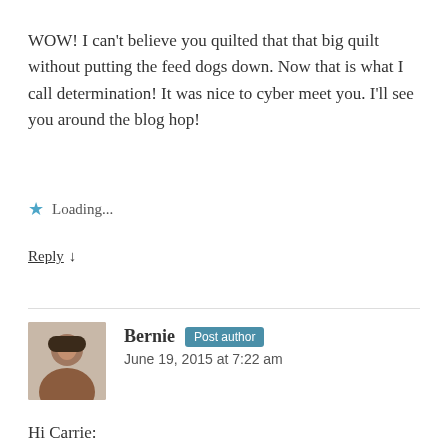WOW! I can't believe you quilted that that big quilt without putting the feed dogs down. Now that is what I call determination! It was nice to cyber meet you. I'll see you around the blog hop!
Loading...
Reply ↓
Bernie Post author
June 19, 2015 at 7:22 am
Hi Carrie:
Nice to meet you as well! The more comments that I receive on this post, the more people I meet that actually do quilt